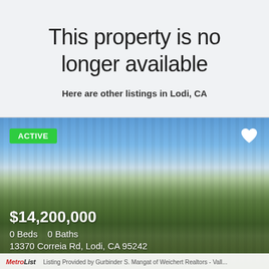This property is no longer available
Here are other listings in Lodi, CA
[Figure (photo): Aerial view of a large farm field with rows of crops under a partly cloudy blue sky, Lodi CA area farmland]
$14,200,000
0 Beds   0 Baths
13370 Correia Rd, Lodi, CA 95242
MetroList  Listing Provided by Gurbinder S. Mangat of Weichert Realtors - Vall...